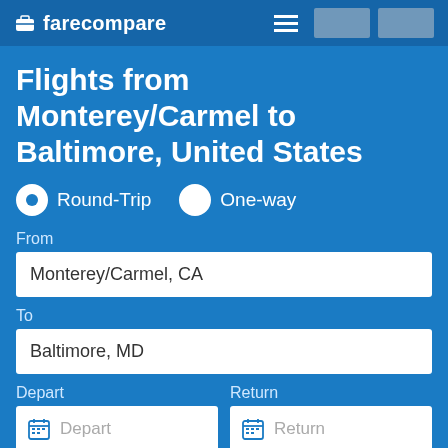farecompare
Flights from Monterey/Carmel to Baltimore, United States
Round-Trip   One-way
From
Monterey/Carmel, CA
To
Baltimore, MD
Depart   Return
1 traveler
Nonstop